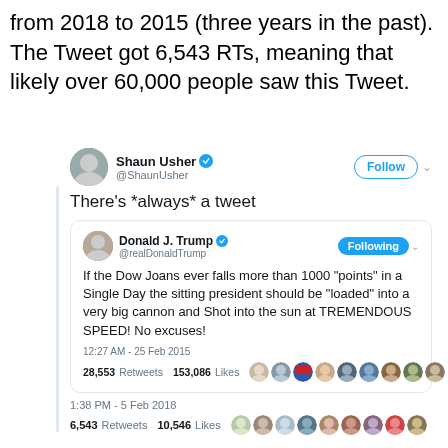from 2018 to 2015 (three years in the past). The Tweet got 6,543 RTs, meaning that likely over 60,000 people saw this Tweet.
[Figure (screenshot): Screenshot of a tweet by Shaun Usher (@ShaunUsher) dated 1:38 PM - 5 Feb 2018, reading 'There's *always* a tweet', which contains an embedded tweet by Donald J. Trump (@realDonaldTrump) dated 12:27 AM - 25 Feb 2015 reading 'If the Dow Joans ever falls more than 1000 "points" in a Single Day the sitting president should be "loaded" into a very big cannon and Shot into the sun at TREMENDOUS SPEED! No excuses!' with 28,553 Retweets and 153,086 Likes. The outer tweet has 6,543 Retweets and 10,546 Likes.]